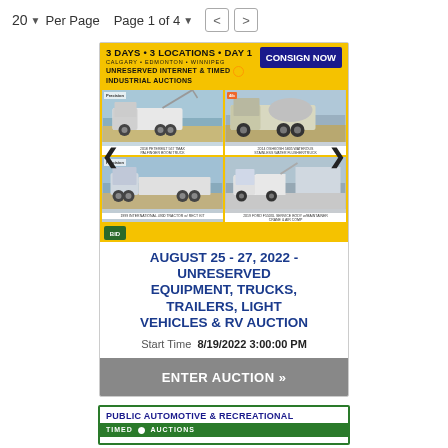20 ▼ Per Page  Page 1 of 4 ▼  < >
[Figure (photo): Auction listing banner showing 4 trucks/industrial vehicles in a yellow-bordered grid with 'CONSIGN NOW' header, '3 DAYS • 3 LOCATIONS • DAY 1 CALGARY • EDMONTON • WINNIPEG UNRESERVED INTERNET & TIMED INDUSTRIAL AUCTIONS' text]
AUGUST 25 - 27, 2022 - UNRESERVED EQUIPMENT, TRUCKS, TRAILERS, LIGHT VEHICLES & RV AUCTION
Start Time  8/19/2022 3:00:00 PM
ENTER AUCTION »
[Figure (photo): Public Automotive & Recreational auction listing card partially visible at bottom]